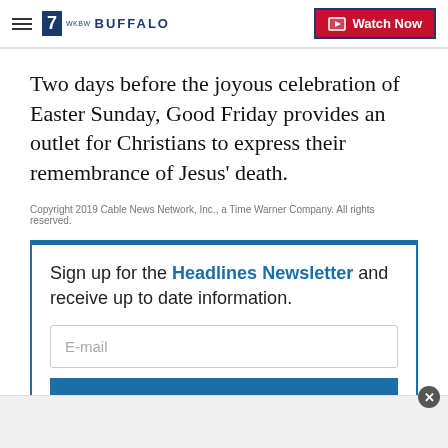7 WKBW Buffalo — Watch Now
Two days before the joyous celebration of Easter Sunday, Good Friday provides an outlet for Christians to express their remembrance of Jesus' death.
Copyright 2019 Cable News Network, Inc., a Time Warner Company. All rights reserved.
Sign up for the Headlines Newsletter and receive up to date information.